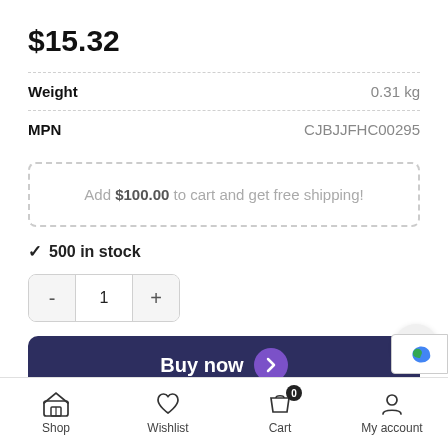$15.32
| Attribute | Value |
| --- | --- |
| Weight | 0.31 kg |
| MPN | CJBJJFHC00295 |
Add $100.00 to cart and get free shipping!
✓ 500 in stock
Quantity: - 1 +
Buy now
— OR —
Shop  Wishlist  Cart (0)  My account